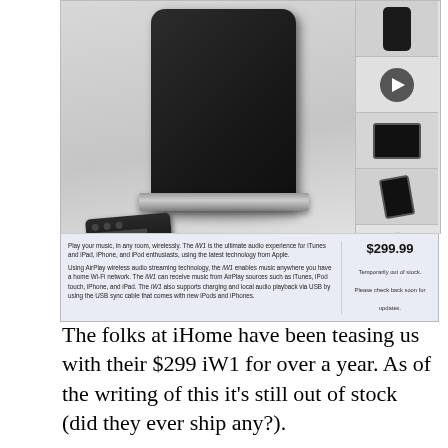[Figure (screenshot): Screenshot of an iHome iW1 product page showing a black wireless speaker with remote control, thumbnail images on the right, and a product description panel showing $299.99 price and 'Temporarily out of stock' message]
The folks at iHome have been teasing us with their $299 iW1 for over a year. As of the writing of this it's still out of stock (did they ever ship any?).